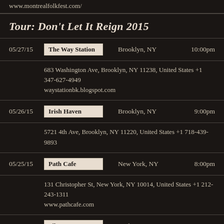www.montrealfolkfest.com/
Tour: Don't Let It Reign 2015
05/27/15 | The Way Station | Brooklyn, NY | 10:00pm
683 Washington Ave, Brooklyn, NY 11238, United States +1 347-627-4949 waystationbk.blogspot.com
05/26/15 | Irish Haven | Brooklyn, NY | 9:00pm
5721 4th Ave, Brooklyn, NY 11220, United States +1 718-439-9893
05/25/15 | Path Cafe | New York, NY | 8:00pm
131 Christopher St, New York, NY 10014, United States +1 212-243-1311 www.pathcafe.com
05/24/15 | Silvana | Harlem, NY | 9:00pm